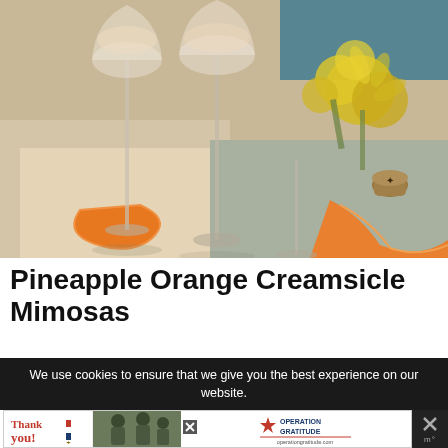[Figure (photo): Three champagne flute glasses filled with a creamy peach/orange drink, surrounded by orange slices, yellow chrysanthemum flowers, and a champagne cork on a decorative surface]
Pineapple Orange Creamsicle Mimosas
We use cookies to ensure that we give you the best experience on our website.
[Figure (infographic): Advertisement banner for Operation Gratitude featuring 'Thank you!' text in script font with American flag imagery, soldiers photo, and Operation Gratitude logo with a close/dismiss button]